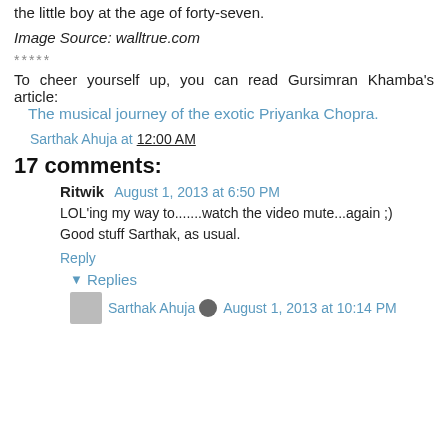the little boy at the age of forty-seven.
Image Source: walltrue.com
*****
To cheer yourself up, you can read Gursimran Khamba's article: The musical journey of the exotic Priyanka Chopra.
Sarthak Ahuja at 12:00 AM
17 comments:
Ritwik  August 1, 2013 at 6:50 PM
LOL'ing my way to.......watch the video mute...again ;)
Good stuff Sarthak, as usual.
Reply
▼ Replies
Sarthak Ahuja  August 1, 2013 at 10:14 PM